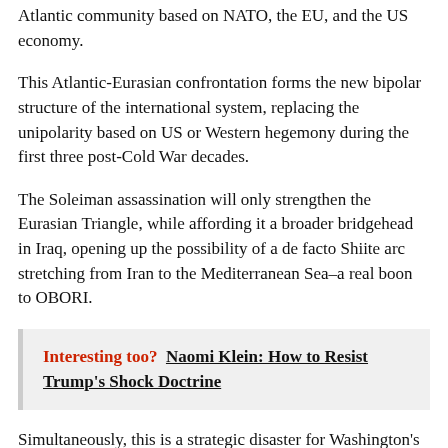Atlantic community based on NATO, the EU, and the US economy.
This Atlantic-Eurasian confrontation forms the new bipolar structure of the international system, replacing the unipolarity based on US or Western hegemony during the first three post-Cold War decades.
The Soleiman assassination will only strengthen the Eurasian Triangle, while affording it a broader bridgehead in Iraq, opening up the possibility of a de facto Shiite arc stretching from Iran to the Mediterranean Sea–a real boon to OBORI.
Interesting too?  Naomi Klein: How to Resist Trump's Shock Doctrine
Simultaneously, this is a strategic disaster for Washington's key ally in the region, Israel, as well as its lesser and